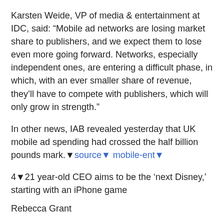Karsten Weide, VP of media & entertainment at IDC, said: “Mobile ad networks are losing market share to publishers, and we expect them to lose even more going forward. Networks, especially independent ones, are entering a difficult phase, in which, with an ever smaller share of revenue, they’ll have to compete with publishers, which will only grow in strength.”
In other news, IAB revealed yesterday that UK mobile ad spending had crossed the half billion pounds mark.▼source▼ mobile-ent▼
4▼21 year-old CEO aims to be the ‘next Disney,’ starting with an iPhone game
Rebecca Grant
What’s cute, furry, and iOS all over? MinoMonsters!
MinoMonsters is a mobile gaming startup that released major updates to its game today and shared some news surrounding the company’s progress. MinoMonsters is a Pokémon-inspired game in which players collect, train, and battle “minos.” The popular app is No. 75 on the top grossing charts in the Apple App